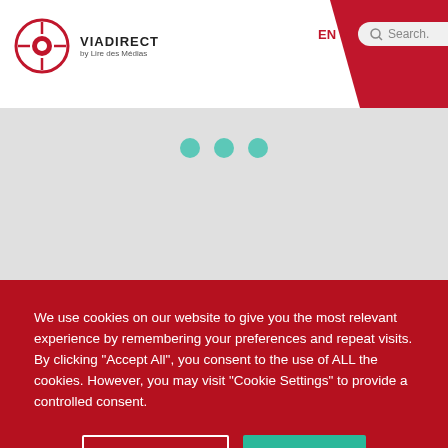[Figure (screenshot): VIA DIRECT website header with logo, EN language selector, search bar, and hamburger menu on a white and red background]
[Figure (screenshot): Grey area with three teal dots (loading/pagination indicator)]
Subscribe to our newsletter to receive our news.
We use cookies on our website to give you the most relevant experience by remembering your preferences and repeat visits. By clicking "Accept All", you consent to the use of ALL the cookies. However, you may visit "Cookie Settings" to provide a controlled consent.